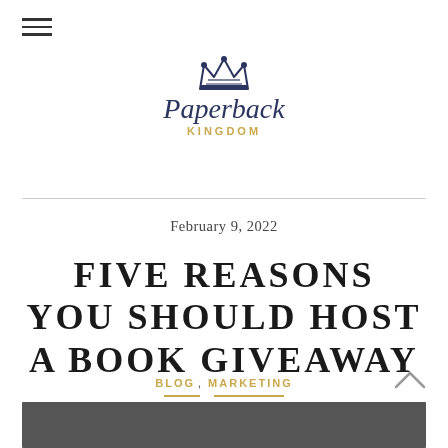[Figure (logo): Paperback Kingdom logo with crown icon, script 'Paperback' text in navy and 'KINGDOM' in gold capitals]
February 9, 2022
FIVE REASONS YOU SHOULD HOST A BOOK GIVEAWAY
BLOG, MARKETING
[Figure (photo): Partial image at bottom of page, dark/blurred background]